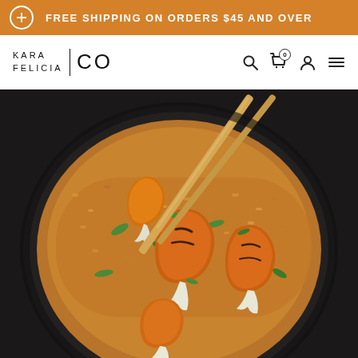FREE SHIPPING ON ORDERS $45 AND OVER
[Figure (logo): Kara Felicia Co brand logo with text KARA FELICIA | CO]
[Figure (photo): Overhead close-up photo of grilled/seared shrimp served over golden fried rice with green onions in a dark bowl, with wooden chopsticks resting on top. Food photography for recipe or e-commerce site.]